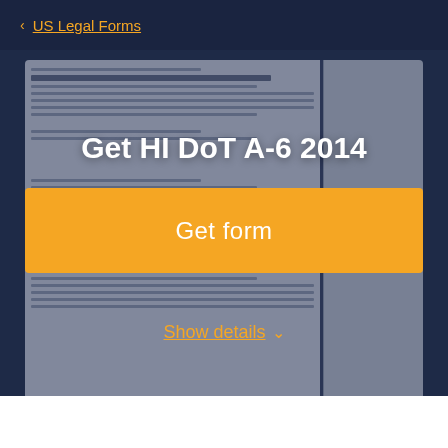< US Legal Forms
[Figure (screenshot): Background screenshot of HI DoT A-6 2014 Tax Clearance Application form, partially visible behind overlays]
Get HI DoT A-6 2014
Get form
Show details